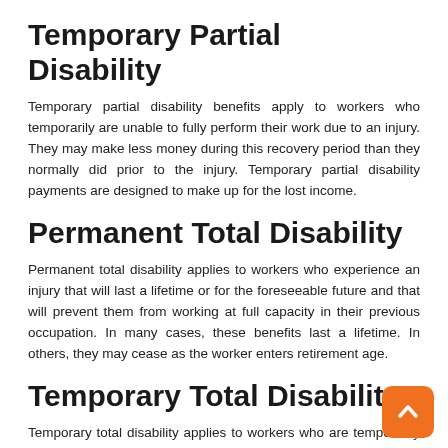Temporary Partial Disability
Temporary partial disability benefits apply to workers who temporarily are unable to fully perform their work due to an injury. They may make less money during this recovery period than they normally did prior to the injury. Temporary partial disability payments are designed to make up for the lost income.
Permanent Total Disability
Permanent total disability applies to workers who experience an injury that will last a lifetime or for the foreseeable future and that will prevent them from working at full capacity in their previous occupation. In many cases, these benefits last a lifetime. In others, they may cease as the worker enters retirement age.
Temporary Total Disability
Temporary total disability applies to workers who are temporarily unable to work at all due to an injury sustained while on the job. The